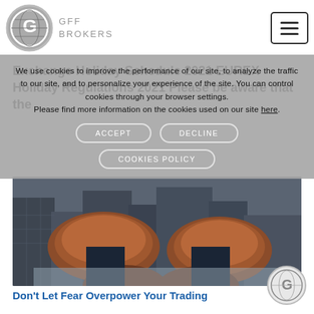GFF BROKERS
Exchange Holiday Schedule 2021 EUREX Holiday Regulations 2021 Please be aware that the
We use cookies to improve the performance of our site, to analyze the traffic to our site, and to personalize your experience of the site. You can control cookies through your browser settings. Please find more information on the cookies used on our site here.
[Figure (photo): Person in brown leather dress shoes standing on a skyscraper looking down at city buildings below]
Don't Let Fear Overpower Your Trading